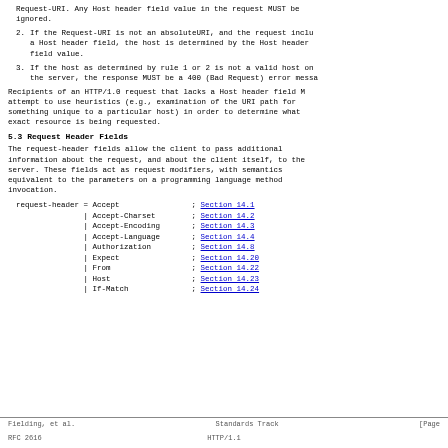Request-URI. Any Host header field value in the request MUST be ignored.
2. If the Request-URI is not an absoluteURI, and the request includes a Host header field, the host is determined by the Host header field value.
3. If the host as determined by rule 1 or 2 is not a valid host on the server, the response MUST be a 400 (Bad Request) error message.
Recipients of an HTTP/1.0 request that lacks a Host header field MUST attempt to use heuristics (e.g., examination of the URI path for something unique to a particular host) in order to determine what exact resource is being requested.
5.3 Request Header Fields
The request-header fields allow the client to pass additional information about the request, and about the client itself, to the server. These fields act as request modifiers, with semantics equivalent to the parameters on a programming language method invocation.
request-header = Accept ; Section 14.1
| Accept-Charset ; Section 14.2
| Accept-Encoding ; Section 14.3
| Accept-Language ; Section 14.4
| Authorization ; Section 14.8
| Expect ; Section 14.20
| From ; Section 14.22
| Host ; Section 14.23
| If-Match ; Section 14.24
Fielding, et al.                    Standards Track                    [Page